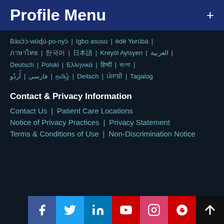Profile Menu
Bàsɔ́ɔ̀-wùɖù-po-nyɔ̀ | Igbo asusu | èdè Yorùbá | ████████ | ████ | ████ | Kreyòl Ayisyen | العربية | Deutsch | Polski | Ελληνικά | ████████ | ████████ | أُردُو | فارسی | ██████ | Deitsch | ██████ | ██████
Contact & Privacy Information
Contact Us | Patient Care Locations
Notice of Privacy Practices | Privacy Statement
Terms & Conditions of Use | Non-Discrimination Notice